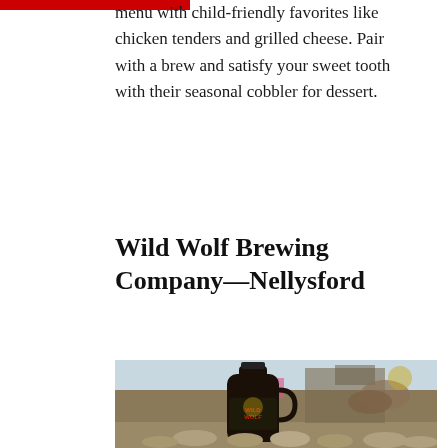menu with child-friendly favorites like chicken tenders and grilled cheese. Pair with a brew and satisfy your sweet tooth with their seasonal cobbler for dessert.
Wild Wolf Brewing Company—Nellysford
[Figure (photo): A dark glass growler jug with the Wild Wolf Brewing Company label (red and yellow text with a wolf logo) sitting on rocks outdoors, with a rustic wooden structure and stacked logs visible in the blurred background.]